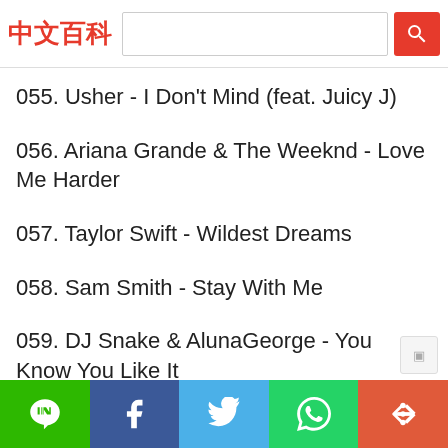中文百科 [search bar]
055. Usher - I Don't Mind (feat. Juicy J)
056. Ariana Grande & The Weeknd - Love Me Harder
057. Taylor Swift - Wildest Dreams
058. Sam Smith - Stay With Me
059. DJ Snake & AlunaGeorge - You Know You Like It
060. Fall Out Boy - Uma Thurman
061. Beyonce - 7/11
LINE | Facebook | Twitter | WhatsApp | More